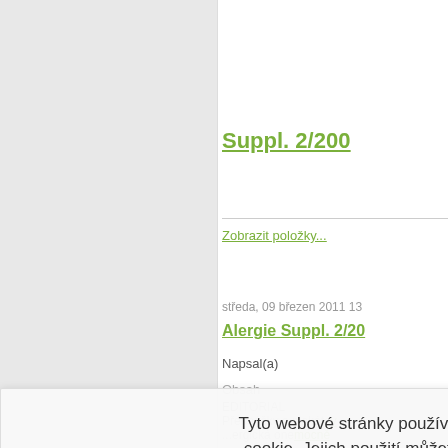Suppl. 2/20...
Zobrazit položky...
středa, 09 březen 2011 13...
Alergie Suppl. 2/20...
Napsal(a)
Obsah
EDITORIAL
Přednášky a plakátova...
...ergická onemocně...
...tika alergický...
Léčba alergi...kých cho...
Imunopatologie kůže
Imunopatologická one...
Choroby zaz...vacího tr...
Imunu...tologie repro...
Imunodeficity,
Autoimunitní choroby...
Tyto webové stránky používají soubory cookie. Jejich použití můžete kdykoliv odmítnou příslušným nastavením prohlížeče.
Více informací
Souhlasím